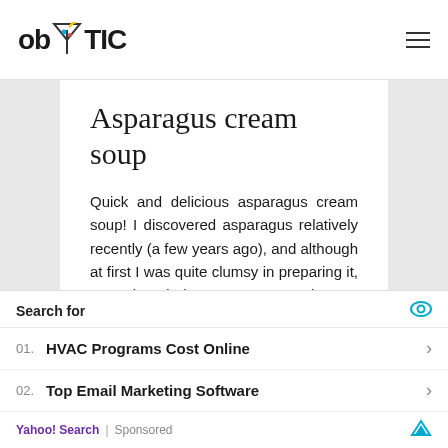ob TIC
Asparagus cream soup
Quick and delicious asparagus cream soup! I discovered asparagus relatively recently (a few years ago), and although at first I was quite clumsy in preparing it, over time it became more and more present in my kitchen! One of my favorite recipes is cream soup, which turned out to be a real gastric bandage when I was
Search for
01. HVAC Programs Cost Online
02. Top Email Marketing Software
Yahoo! Search | Sponsored